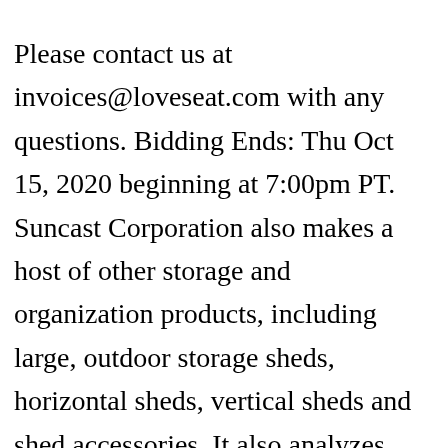Please contact us at invoices@loveseat.com with any questions. Bidding Ends: Thu Oct 15, 2020 beginning at 7:00pm PT. Suncast Corporation also makes a host of other storage and organization products, including large, outdoor storage sheds, horizontal sheds, vertical sheds and shed accessories. It also analyzes reviews to verify trustworthiness. $688.99 reg $952.99. With sheds and deck boxes in a range of shapes, sizes, and styles, we've got you covered. a Target Plus™ partner. The advantages of using a Suncast shed are many: Variety of sizes, shapes and designs;